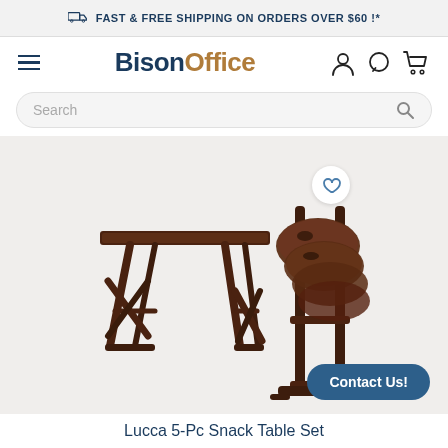FAST & FREE SHIPPING ON ORDERS OVER $60 !*
[Figure (logo): BisonOffice logo with hamburger menu, user icon, chat icon, and cart icon]
Search
[Figure (photo): Lucca 5-Pc Snack Table Set in dark walnut/espresso finish, showing one tray table extended and four folded tables on a stand, with a wishlist heart button and a Contact Us button]
Lucca 5-Pc Snack Table Set